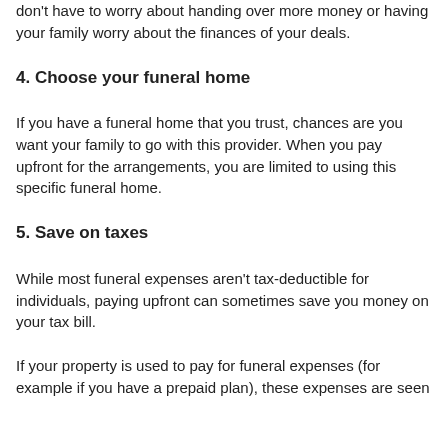don't have to worry about handing over more money or having your family worry about the finances of your deals.
4. Choose your funeral home
If you have a funeral home that you trust, chances are you want your family to go with this provider. When you pay upfront for the arrangements, you are limited to using this specific funeral home.
5. Save on taxes
While most funeral expenses aren't tax-deductible for individuals, paying upfront can sometimes save you money on your tax bill.
If your property is used to pay for funeral expenses (for example if you have a prepaid plan), these expenses are seen